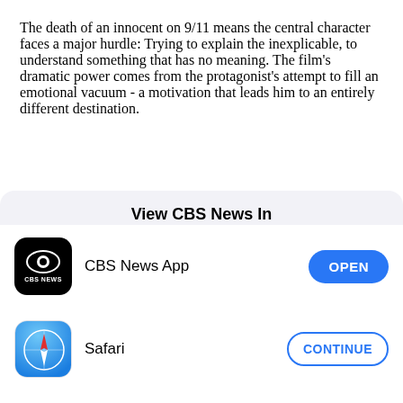The death of an innocent on 9/11 means the central character faces a major hurdle: Trying to explain the inexplicable, to understand something that has no meaning. The film's dramatic power comes from the protagonist's attempt to fill an emotional vacuum - a motivation that leads him to an entirely different destination.
View CBS News In
[Figure (logo): CBS News App icon - black rounded square with CBS eye logo and CBS NEWS text, with OPEN button]
[Figure (logo): Safari browser icon - blue gradient compass icon, with CONTINUE button]